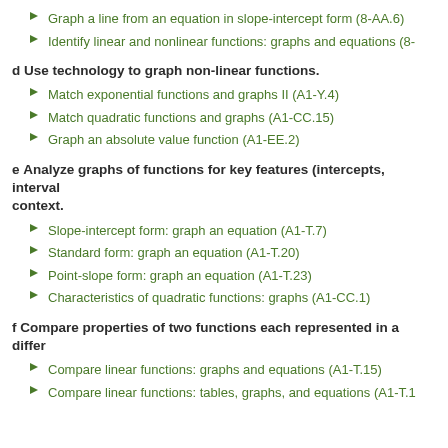Graph a line from an equation in slope-intercept form (8-AA.6)
Identify linear and nonlinear functions: graphs and equations (8-
d Use technology to graph non-linear functions.
Match exponential functions and graphs II (A1-Y.4)
Match quadratic functions and graphs (A1-CC.15)
Graph an absolute value function (A1-EE.2)
e Analyze graphs of functions for key features (intercepts, interval context.
Slope-intercept form: graph an equation (A1-T.7)
Standard form: graph an equation (A1-T.20)
Point-slope form: graph an equation (A1-T.23)
Characteristics of quadratic functions: graphs (A1-CC.1)
f Compare properties of two functions each represented in a differ
Compare linear functions: graphs and equations (A1-T.15)
Compare linear functions: tables, graphs, and equations (A1-T.1